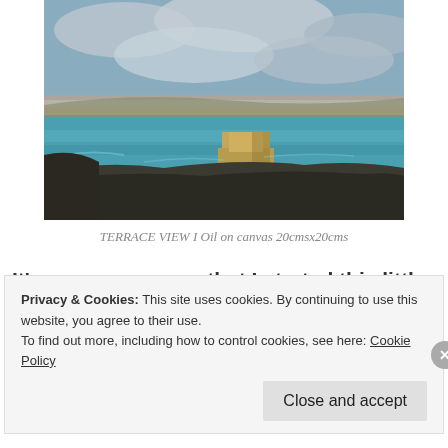[Figure (illustration): A landscape oil painting showing a Mediterranean coastal scene with a building/tower, blue water, rocky foreground, and dramatic cloudy sky with warm tones.]
TERRACE VIEW I Oil on canvas 20cmsx20cms
It’s over a year ago that I started this little study and longing for the Mediterranean, I thought it was time to finish, this one.
Privacy & Cookies: This site uses cookies. By continuing to use this website, you agree to their use.
To find out more, including how to control cookies, see here: Cookie Policy